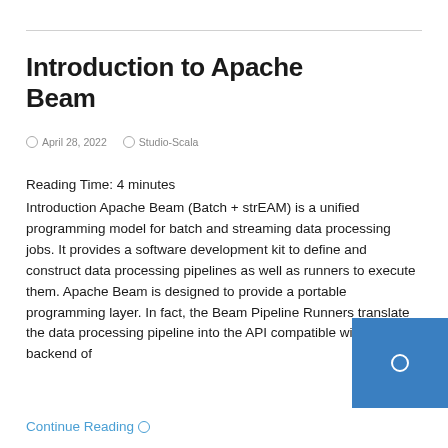Introduction to Apache Beam
April 28, 2022   Studio-Scala
Reading Time: 4 minutes
Introduction Apache Beam (Batch + strEAM) is a unified programming model for batch and streaming data processing jobs. It provides a software development kit to define and construct data processing pipelines as well as runners to execute them. Apache Beam is designed to provide a portable programming layer. In fact, the Beam Pipeline Runners translate the data processing pipeline into the API compatible with the backend of
Continue Reading